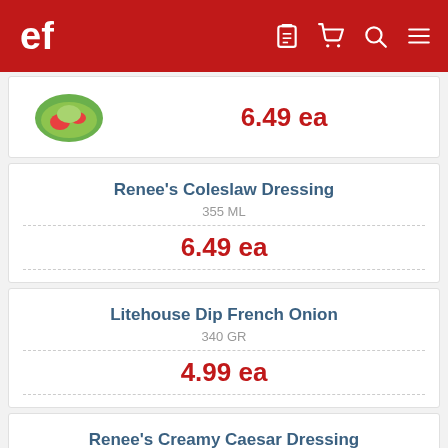[Figure (screenshot): App header with red background showing logo and navigation icons]
6.49 ea
Renee's Coleslaw Dressing
355 ML
6.49 ea
Litehouse Dip French Onion
340 GR
4.99 ea
Renee's Creamy Caesar Dressing
350 ML